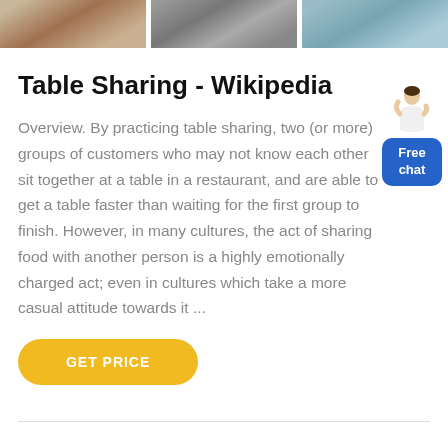[Figure (photo): Three side-by-side photos at top: left shows a sandy/earthy scene, middle shows industrial/construction machinery, right shows a blue-toned industrial scene.]
Table Sharing - Wikipedia
Overview. By practicing table sharing, two (or more) groups of customers who may not know each other sit together at a table in a restaurant, and are able to get a table faster than waiting for the first group to finish. However, in many cultures, the act of sharing food with another person is a highly emotionally charged act; even in cultures which take a more casual attitude towards it ...
[Figure (illustration): Free chat widget: a person figure above a blue rounded-rectangle button with 'Free chat' text.]
GET PRICE